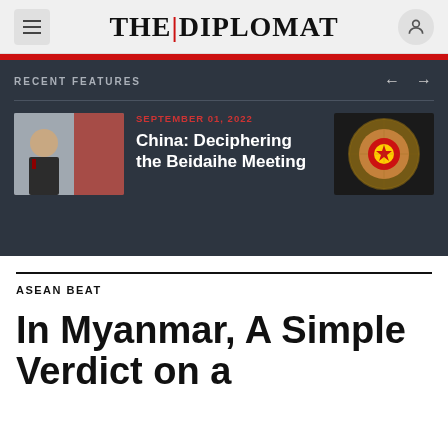THE DIPLOMAT
RECENT FEATURES
[Figure (photo): Photo of Xi Jinping at left; decorative medallion/emblem at right]
SEPTEMBER 01, 2022
China: Deciphering the Beidaihe Meeting
ASEAN BEAT
In Myanmar, A Simple Verdict on a